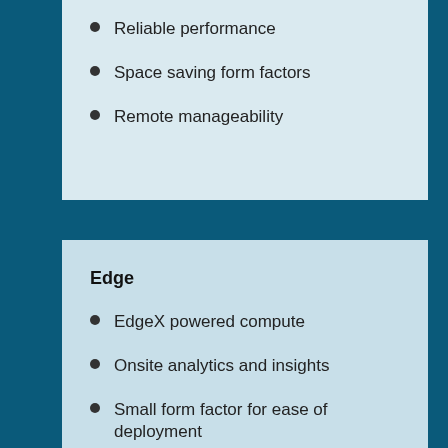Reliable performance
Space saving form factors
Remote manageability
Edge
EdgeX powered compute
Onsite analytics and insights
Small form factor for ease of deployment